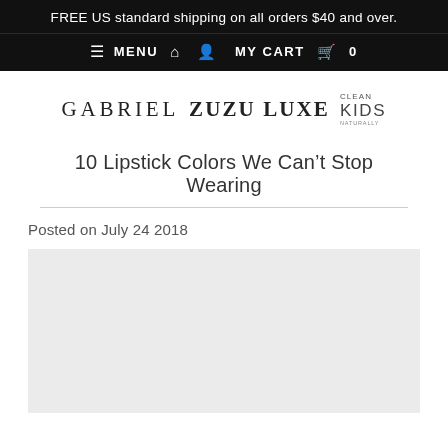FREE US standard shipping on all orders $40 and over.
≡ MENU  🏠  👤  MY CART  🛍  0
[Figure (logo): Gabriel Cosmetics logo with GABRIEL, ZUZU LUXE, and CLEAN KIDS NATURALLY wordmarks]
10 Lipstick Colors We Can't Stop Wearing
Posted on July 24 2018
[Figure (photo): Article image placeholder (light gray rectangle)]